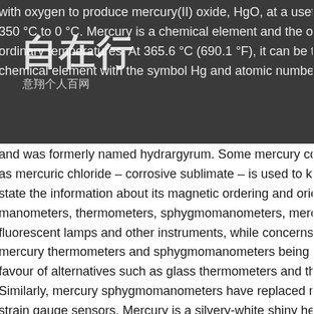with oxygen to produce mercury(II) oxide, HgO, at a useful rate until hea 350 °C to 0 °C. Mercury is a chemical element and the only com ordinary temperatures. At 365.6 °C (690.1 °F), it can be transformed to a chemical element with the symbol Hg and atomic number 80.It is commo and was formerly named hydrargyrum. Some mercury compounds are k as mercuric chloride – corrosive sublimate – is used to kill pests. magnet state the information about its magnetic ordering and orientation. Mercur manometers, thermometers, sphygmomanometers, mercury switches, fl fluorescent lamps and other instruments, while concerns about the toxici mercury thermometers and sphygmomanometers being increasingly pha favour of alternatives such as glass thermometers and thermometers fille Similarly, mercury sphygmomanometers have replaced mechanical press strain gauge sensors. Mercury is a silvery-white shiny heavy liquid with s is commonly known as quicksilver and is heavy, silvery-white liquid meta been known for thousands of years. First aid measures 4.1. Mercury has measures General In all cases of doubt, or when symptoms persist, seek